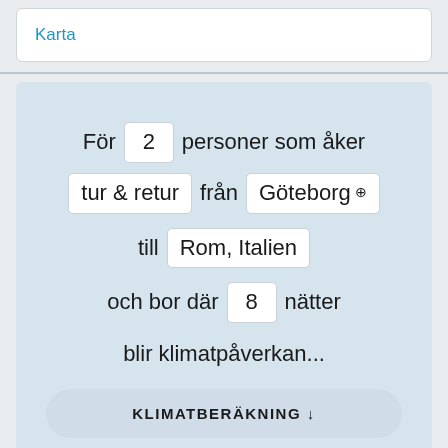Karta
För 2 personer som åker tur & retur från Göteborg till Rom, Italien och bor där 8 nätter blir klimatpåverkan...
KLIMATBERÄKNING ↓